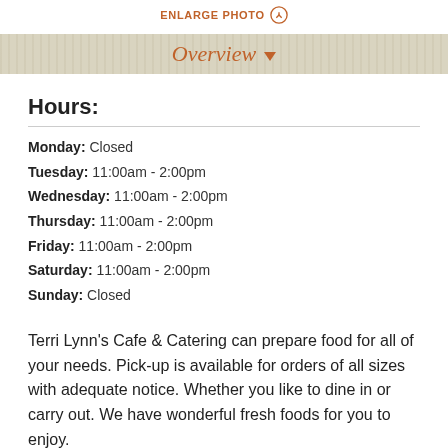ENLARGE PHOTO
Overview
Hours:
Monday: Closed
Tuesday: 11:00am - 2:00pm
Wednesday: 11:00am - 2:00pm
Thursday: 11:00am - 2:00pm
Friday: 11:00am - 2:00pm
Saturday: 11:00am - 2:00pm
Sunday: Closed
Terri Lynn's Cafe & Catering can prepare food for all of your needs. Pick-up is available for orders of all sizes with adequate notice. Whether you like to dine in or carry out. We have wonderful fresh foods for you to enjoy.